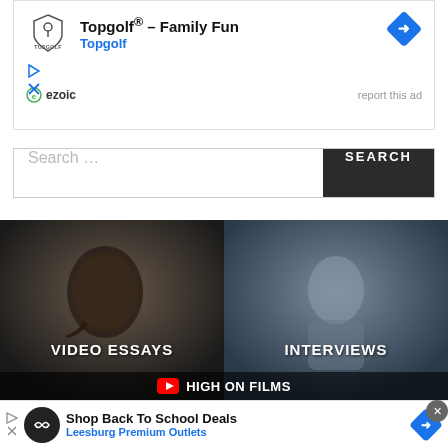[Figure (screenshot): Topgolf Family Fun advertisement banner with Topgolf logo, play and X icons, ezoic badge, report this ad link, and blue diamond arrow icon]
Search …
[Figure (screenshot): Video section showing two panels: VIDEO ESSAYS on the left with a man's face and INTERVIEWS on the right with a man in a Hawaiian shirt, with HIGH ON FILMS YouTube bar at the bottom]
[Figure (screenshot): Bottom advertisement banner for Shop Back To School Deals - Leesburg Premium Outlets with black circular logo, blue arrow icon, and close X button]